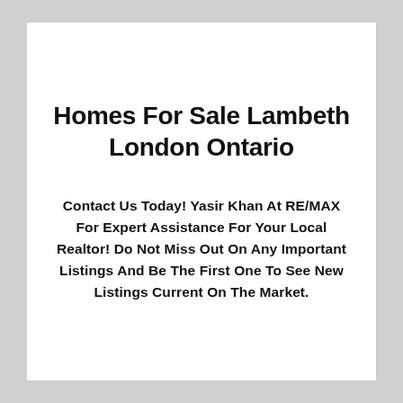Homes For Sale Lambeth London Ontario
Contact Us Today! Yasir Khan At RE/MAX For Expert Assistance For Your Local Realtor! Do Not Miss Out On Any Important Listings And Be The First One To See New Listings Current On The Market.